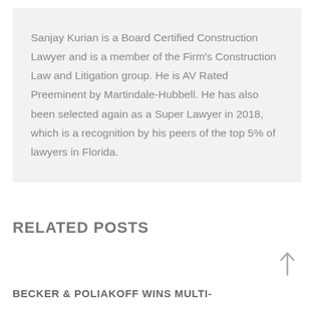Sanjay Kurian is a Board Certified Construction Lawyer and is a member of the Firm's Construction Law and Litigation group. He is AV Rated Preeminent by Martindale-Hubbell. He has also been selected again as a Super Lawyer in 2018, which is a recognition by his peers of the top 5% of lawyers in Florida.
RELATED POSTS
BECKER & POLIAKOFF WINS MULTI-